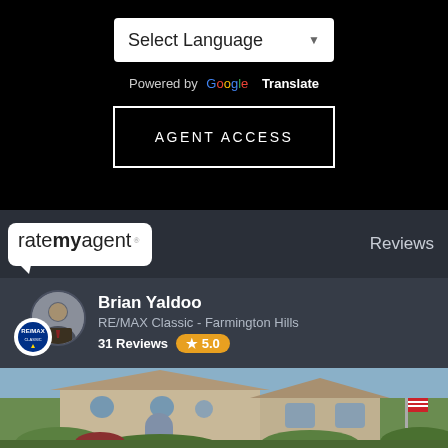[Figure (screenshot): Select Language dropdown on black background]
Powered by Google Translate
AGENT ACCESS
[Figure (logo): ratemyagent logo in white speech bubble on dark background, with Reviews text on right]
Reviews
Brian Yaldoo
RE/MAX Classic - Farmington Hills
31 Reviews ★ 5.0
[Figure (photo): Photo of a large brick house with green landscaping]